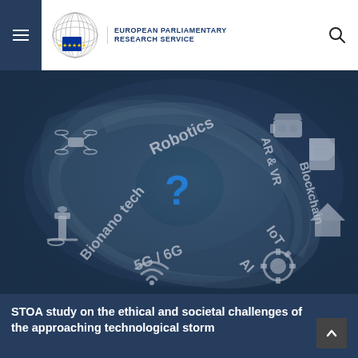European Parliamentary Research Service
[Figure (illustration): Satellite storm/hurricane image overlay with technology topic labels: Robotics, AR & VR, Blockchain, IoT, AI, 5G/6G, Bionano tech, and a central blue question mark. Various technology icons (drone, microscope, VR headset, smart home, gears, wifi) are scattered around the swirling storm image.]
STOA study on the ethical and societal challenges of the approaching technological storm